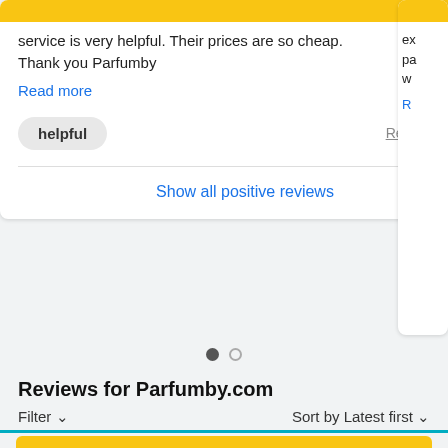service is very helpful. Their prices are so cheap. Thank you Parfumby
Read more
helpful
Report review
Show all positive reviews
Reviews for Parfumby.com
Filter ∨
Sort by Latest first ∨
★★★☆☆ (0) ×
★☆☆☆☆ (5) ×